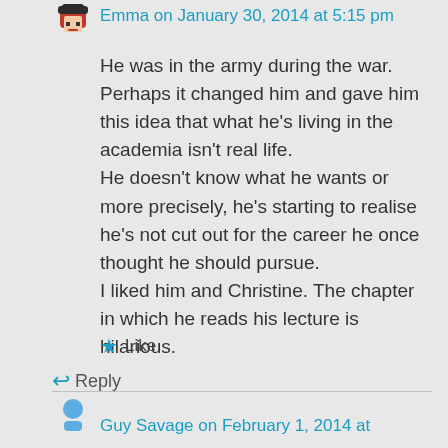Emma on January 30, 2014 at 5:15 pm
He was in the army during the war. Perhaps it changed him and gave him this idea that what he's living in the academia isn't real life.
He doesn't know what he wants or more precisely, he's starting to realise he's not cut out for the career he once thought he should pursue.
I liked him and Christine. The chapter in which he reads his lecture is hilarious.
Like
Reply
Guy Savage on February 1, 2014 at